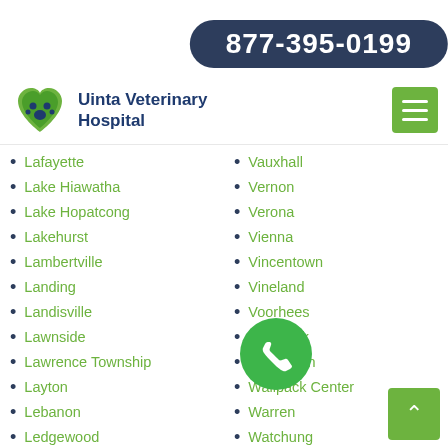877-395-0199
[Figure (logo): Uinta Veterinary Hospital logo with paw print heart, next to text 'Uinta Veterinary Hospital']
Lafayette
Lake Hiawatha
Lake Hopatcong
Lakehurst
Lambertville
Landing
Landisville
Lawnside
Lawrence Township
Layton
Lebanon
Ledgewood
Leonia
Vauxhall
Vernon
Verona
Vienna
Vincentown
Vineland
Voorhees
Waldwick
Wallington
Wallpack Center
Warren
Watchung
Waterford Works